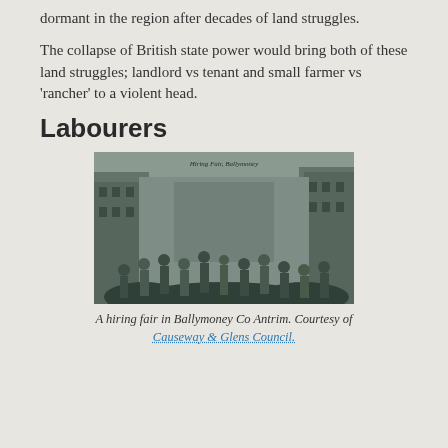dormant in the region after decades of land struggles.
The collapse of British state power would bring both of these land struggles; landlord vs tenant and small farmer vs 'rancher' to a violent head.
Labourers
[Figure (photo): Historical black and white photograph of a hiring fair in Ballymoney, Co Antrim, showing a crowded street with many people gathered between tall buildings. Caption at top reads 'Hiring Fair, Ballymoney'.]
A hiring fair in Ballymoney Co Antrim. Courtesy of Causeway & Glens Council.